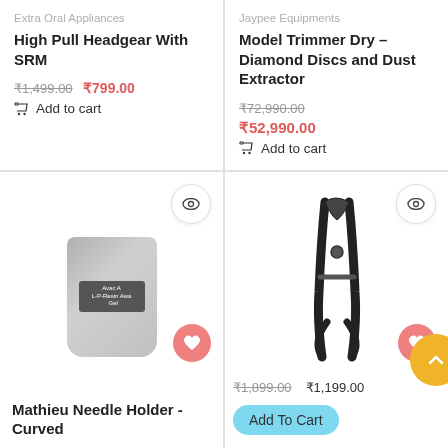Extra Oral Appliances
High Pull Headgear With SRM
₹1,499.00 ₹799.00
Add to cart
Jaypee Equipments
Model Trimmer Dry – Diamond Discs and Dust Extractor
₹72,990.00 ₹52,990.00
Add to cart
[Figure (photo): Gray tube/pouch product (Avac A brand) with eye and heart buttons]
Mathieu Needle Holder - Curved
[Figure (photo): Black metal plier/needle holder tool with eye and heart buttons]
₹1,899.00 ₹1,199.00
Add To Cart